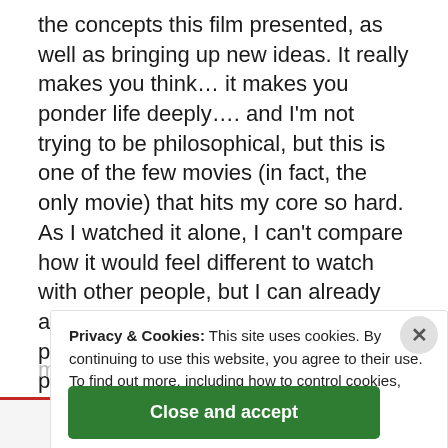the concepts this film presented, as well as bringing up new ideas. It really makes you think… it makes you ponder life deeply…. and I'm not trying to be philosophical, but this is one of the few movies (in fact, the only movie) that hits my core so hard. As I watched it alone, I can't compare how it would feel different to watch with other people, but I can already agree 100%. This kind of movie is perfect for self-reflection, and personally allowed me to establish a small connection with my own memories and how i interact with them so... [faded] minds really are.
Privacy & Cookies: This site uses cookies. By continuing to use this website, you agree to their use.
To find out more, including how to control cookies, see here:
Cookie Policy
Close and accept
Again, thanks so much for answering every single one